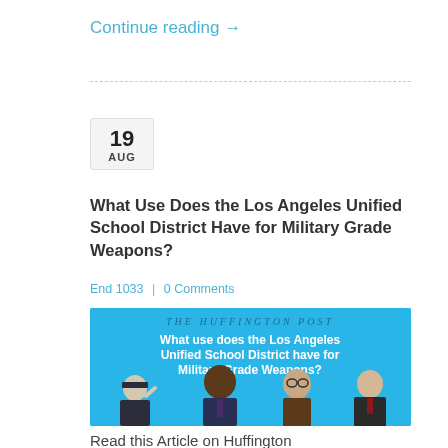Continue reading →
[Figure (screenshot): Huffington Post article thumbnail showing blue background with white headline 'What use does the Los Angeles Unified School District have for Military Grade Weapons?' and four people at the bottom including a military officer, Barack Obama, and two other men]
What Use Does the Los Angeles Unified School District Have for Military Grade Weapons?
End 1033 | 0 Comments
Read this Article on Huffington